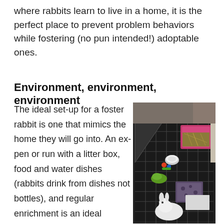where rabbits learn to live in a home, it is the perfect place to prevent problem behaviors while fostering (no pun intended!) adoptable ones.
Environment, environment, environment
The ideal set-up for a foster rabbit is one that mimics the home they will go into. An ex-pen or run with a litter box, food and water dishes (rabbits drink from dishes not bottles), and regular enrichment is an ideal
[Figure (photo): Overhead view of a rabbit exercise pen (ex-pen) set up indoors on a dark mat. Inside the pen: a pink litter box filled with hay in one corner, a white bowl, colorful toys, leafy greens, a patterned mat, a white rabbit sitting in the lower portion, and other accessories. The pen is made of black wire panels.]